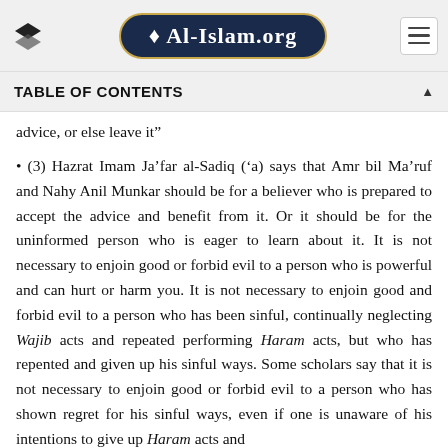Al-Islam.org
TABLE OF CONTENTS
advice, or else leave it”
• (3) Hazrat Imam Ja’far al-Sadiq (‘a) says that Amr bil Ma’ruf and Nahy Anil Munkar should be for a believer who is prepared to accept the advice and benefit from it. Or it should be for the uninformed person who is eager to learn about it. It is not necessary to enjoin good or forbid evil to a person who is powerful and can hurt or harm you. It is not necessary to enjoin good and forbid evil to a person who has been sinful, continually neglecting Wajib acts and repeated performing Haram acts, but who has repented and given up his sinful ways. Some scholars say that it is not necessary to enjoin good or forbid evil to a person who has shown regret for his sinful ways, even if one is unaware of his intentions to give up Haram acts and